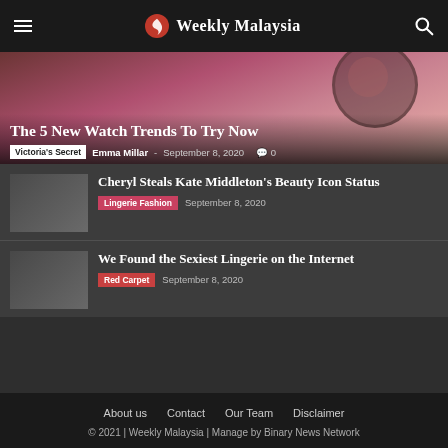Weekly Malaysia
[Figure (photo): Hero image showing a close-up of a watch with background of flowers, overlaid with article title and metadata]
The 5 New Watch Trends To Try Now
Victoria's Secret  Emma Millar - September 8, 2020  0
Cheryl Steals Kate Middleton's Beauty Icon Status
Lingerie Fashion  September 8, 2020
We Found the Sexiest Lingerie on the Internet
Red Carpet  September 8, 2020
About us  Contact  Our Team  Disclaimer
© 2021 | Weekly Malaysia | Manage by Binary News Network